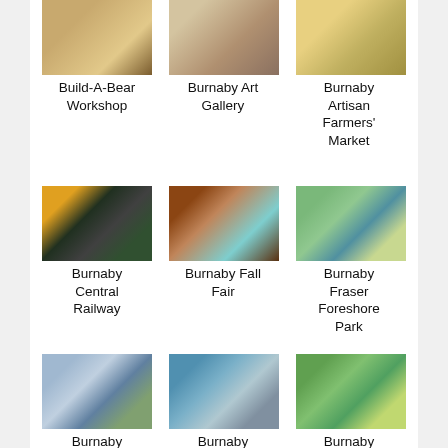[Figure (photo): Build-A-Bear Workshop storefront photo]
Build-A-Bear Workshop
[Figure (photo): Burnaby Art Gallery building photo]
Burnaby Art Gallery
[Figure (photo): Burnaby Artisan Farmers' Market photo]
Burnaby Artisan Farmers' Market
[Figure (photo): Burnaby Central Railway with yellow train photo]
Burnaby Central Railway
[Figure (photo): Burnaby Fall Fair display shelves photo]
Burnaby Fall Fair
[Figure (photo): Burnaby Fraser Foreshore Park path photo]
Burnaby Fraser Foreshore Park
[Figure (photo): Burnaby Heights Park scenic view photo]
Burnaby Heights Park
[Figure (photo): Burnaby Lake photo]
Burnaby Lake
[Figure (photo): Burnaby Lake Regional Park green meadow photo]
Burnaby Lake Regional Park